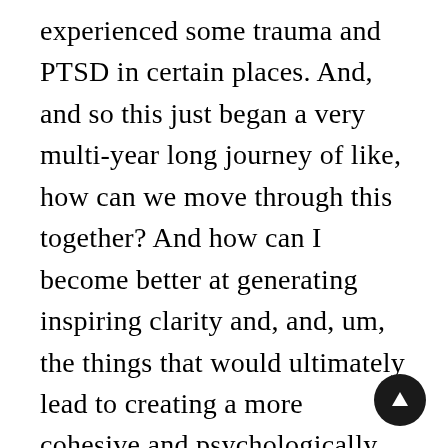experienced some trauma and PTSD in certain places. And, and so this just began a very multi-year long journey of like, how can we move through this together? And how can I become better at generating inspiring clarity and, and, um, the things that would ultimately lead to creating a more cohesive and psychologically safe environment. The part I want to get to here is initially, like, I don't want to make it sound that I, I showed up in such a helpful way. Initially. I like my instinct at the time was more because I was still, we hadn't fully transitioned all operations to our COO. Yet at that point I was still addicted to being busy. I was still addicted to, well, let me